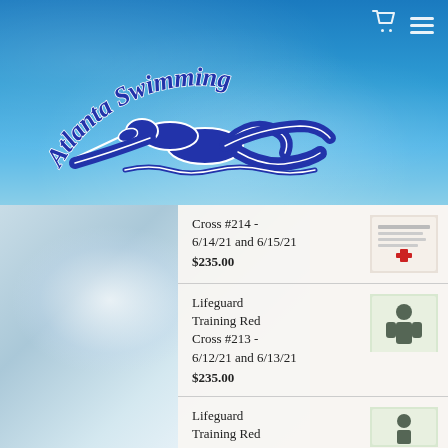[Figure (logo): Atlanta Swimming logo with arched text 'Atlanta Swimming' above a blue swimmer silhouette on a water background]
Cross #214 - 6/14/21 and 6/15/21 $235.00
Lifeguard Training Red Cross #213 - 6/12/21 and 6/13/21 $235.00
Lifeguard Training Red